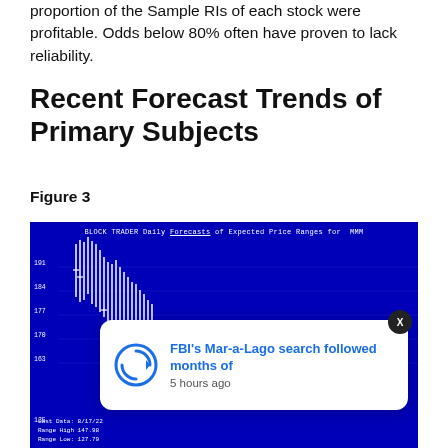proportion of the Sample RIs of each stock were profitable. Odds below 80% often have proven to lack reliability.
Recent Forecast Trends of Primary Subjects
Figure 3
[Figure (continuous-plot): BLOCK TRADER Daily Forecasts of Expected Price Ranges for MMM — a blue-background candlestick/range chart showing price ranges from approximately 135 to 191, with last data 8/17/22, Range High 147.98, Range Low 127.79. A notification overlay from 'updatem' reads 'FBI's Mar-a-Lago search followed months of' with timestamp '5 hours ago'. A bell icon with badge '3' and a close button 'X' are also visible.]